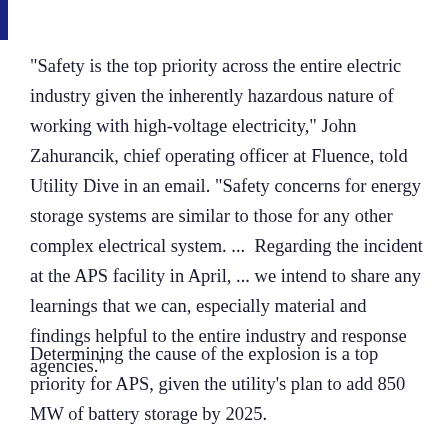"Safety is the top priority across the entire electric industry given the inherently hazardous nature of working with high-voltage electricity," John Zahurancik, chief operating officer at Fluence, told Utility Dive in an email. "Safety concerns for energy storage systems are similar to those for any other complex electrical system. ...  Regarding the incident at the APS facility in April, ... we intend to share any learnings that we can, especially material and findings helpful to the entire industry and response agencies."
Determining the cause of the explosion is a top priority for APS, given the utility's plan to add 850 MW of battery storage by 2025.